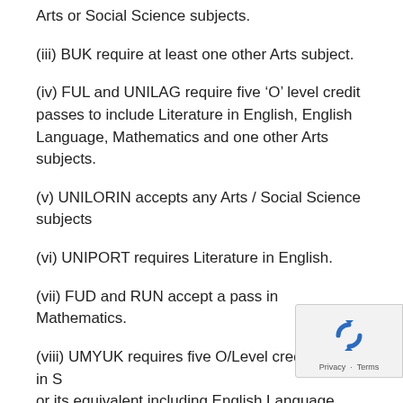Arts or Social Science subjects.
(iii) BUK require at least one other Arts subject.
(iv) FUL and UNILAG require five ‘O’ level credit passes to include Literature in English, English Language, Mathematics and one other Arts subjects.
(v) UNILORIN accepts any Arts / Social Science subjects
(vi) UNIPORT requires Literature in English.
(vii) FUD and RUN accept a pass in Mathematics.
(viii) UMYUK requires five O/Level credit passes in S or its equivalent including English Language, English Literature and any other three credits from Arts or Social...